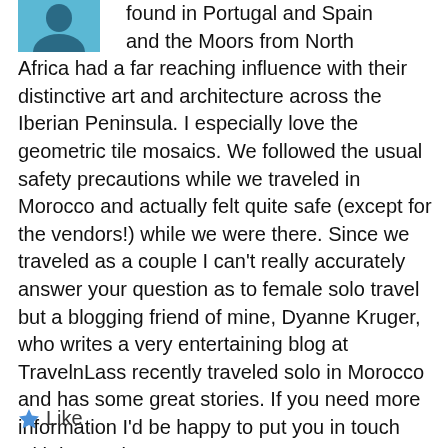[Figure (photo): Small avatar photo of a person, partially visible, with blue/teal background, positioned in top-left corner]
found in Portugal and Spain and the Moors from North Africa had a far reaching influence with their distinctive art and architecture across the Iberian Peninsula. I especially love the geometric tile mosaics. We followed the usual safety precautions while we traveled in Morocco and actually felt quite safe (except for the vendors!) while we were there. Since we traveled as a couple I can't really accurately answer your question as to female solo travel but a blogging friend of mine, Dyanne Kruger, who writes a very entertaining blog at TravelnLass recently traveled solo in Morocco and has some great stories. If you need more information I'd be happy to put you in touch with her. Anita
Like